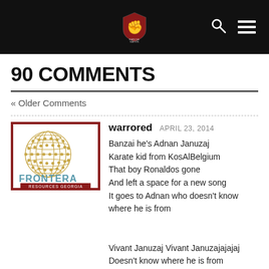Banzai Nation website header with logo, search icon, and menu icon
90 COMMENTS
« Older Comments
[Figure (logo): Frontera Resources Georgia logo — golden globe grid with FRONTERA text and RESOURCES GEORGIA below]
warrored  APRIL 23, 2014

Banzai he's Adnan Januzaj
Karate kid from KosAlBelgium
That boy Ronaldos gone
And left a space for a new song
It goes to Adnan who doesn't know where he is from

Vivant Januzaj Vivant Januzajajajaj
Doesn't know where he is from
Vivant Januzaj...